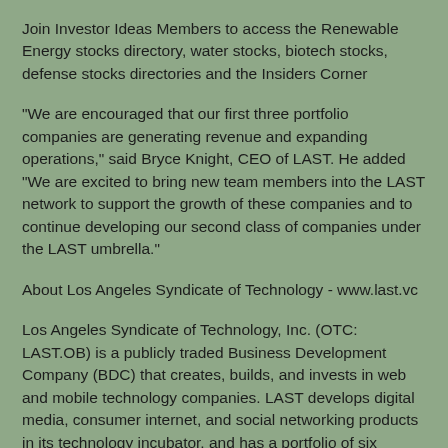Join Investor Ideas Members to access the Renewable Energy stocks directory, water stocks, biotech stocks, defense stocks directories and the Insiders Corner
"We are encouraged that our first three portfolio companies are generating revenue and expanding operations," said Bryce Knight, CEO of LAST. He added "We are excited to bring new team members into the LAST network to support the growth of these companies and to continue developing our second class of companies under the LAST umbrella."
About Los Angeles Syndicate of Technology - www.last.vc
Los Angeles Syndicate of Technology, Inc. (OTC: LAST.OB) is a publicly traded Business Development Company (BDC) that creates, builds, and invests in web and mobile technology companies. LAST develops digital media, consumer internet, and social networking products in its technology incubator, and has a portfolio of six companies at different stages of development. LAST's mission is to foster technology innovation in Los Angeles by partnering with the most talented entrepreneurs of southern California and